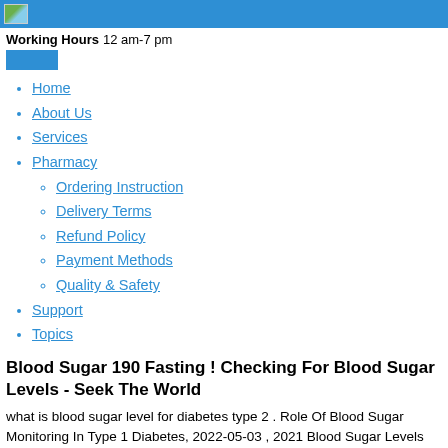Working Hours 12 am-7 pm
Home
About Us
Services
Pharmacy
Ordering Instruction
Delivery Terms
Refund Policy
Payment Methods
Quality & Safety
Support
Topics
Blood Sugar 190 Fasting ! Checking For Blood Sugar Levels - Seek The World
what is blood sugar level for diabetes type 2 . Role Of Blood Sugar Monitoring In Type 1 Diabetes, 2022-05-03 , 2021 Blood Sugar Levels Chart . blood sugar 190 fasting Do Digestive Enzymes Lower Blood Sugar.